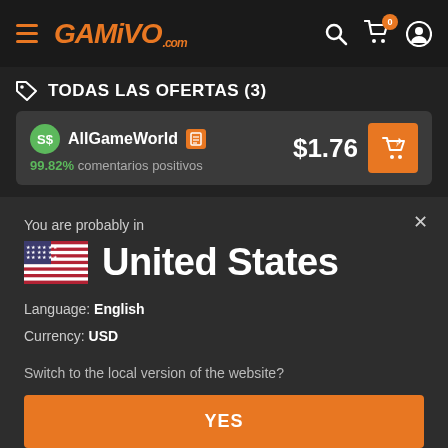GAMIVO.com
TODAS LAS OFERTAS (3)
AllGameWorld 99.82% comentarios positivos $1.76
You are probably in
United States
Language: English
Currency: USD
Switch to the local version of the website?
YES